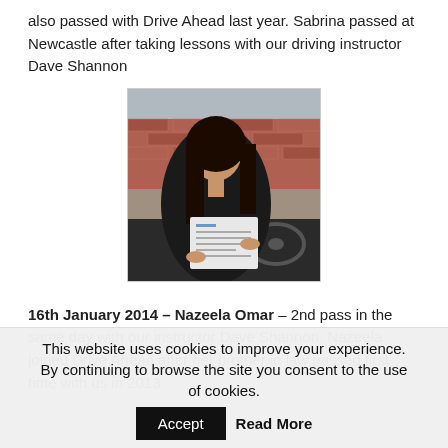also passed with Drive Ahead last year. Sabrina passed at Newcastle after taking lessons with our driving instructor Dave Shannon
[Figure (photo): Young woman sitting in a car holding up a driving test pass certificate]
16th January 2014 – Nazeela Omar – 2nd pass in the same day with our instructor Dave Shannon. Nazeela joined Drive Ahead after her brother in law passed first time with us in 2013.
This website uses cookies to improve your experience. By continuing to browse the site you consent to the use of cookies. Accept Read More